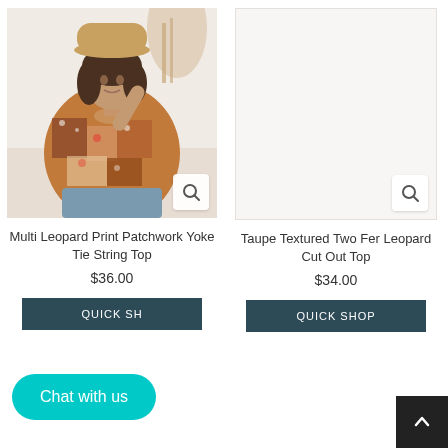[Figure (photo): Woman wearing a multi leopard print patchwork yoke tie string top with a tan hat, long sleeves, brown-rust-cream floral/leopard patchwork pattern. She poses with hand near hat brim. Background shows a light interior setting with dried pampas grass.]
[Figure (photo): Empty product image placeholder for Taupe Textured Two Fer Leopard Cut Out Top — appears as blank/white space with a search/zoom icon in lower right corner.]
Multi Leopard Print Patchwork Yoke Tie String Top
$36.00
Taupe Textured Two Fer Leopard Cut Out Top
$34.00
QUICK SHOP
Chat with us